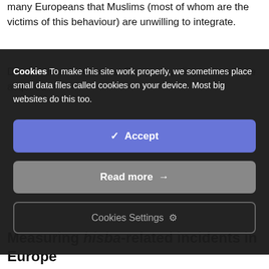many Europeans that Muslims (most of whom are the victims of this behaviour) are unwilling to integrate.
Despite these risks, most European policymakers have acquired
[Figure (screenshot): Cookie consent modal overlay with dark background, containing cookie notice text and three buttons: Accept (blue), Read more (grey), Cookies Settings (dark with border)]
Measuring hisba-related incidents in Europe